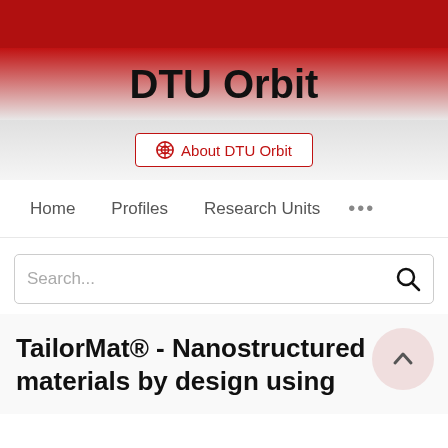[Figure (screenshot): DTU Orbit website header with dark red banner and gradient]
DTU Orbit
About DTU Orbit
Home   Profiles   Research Units   ...
Search...
TailorMat® - Nanostructured materials by design using